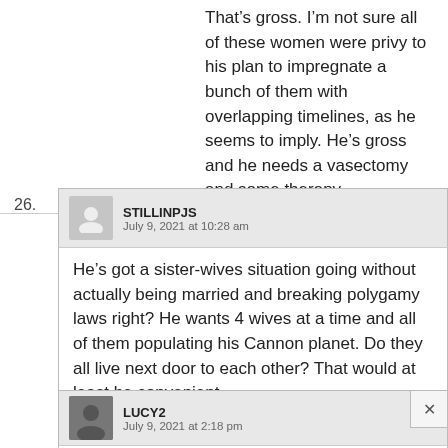That’s gross. I’m not sure all of these women were privy to his plan to impregnate a bunch of them with overlapping timelines, as he seems to imply. He’s gross and he needs a vasectomy and some therapy.
26. STILLINPJS
July 9, 2021 at 10:28 am
He’s got a sister-wives situation going without actually being married and breaking polygamy laws right? He wants 4 wives at a time and all of them populating his Cannon planet. Do they all live next door to each other? That would at least be convenient.
LUCY2
July 9, 2021 at 2:18 pm
I definitely thought of the Big Love show with this!